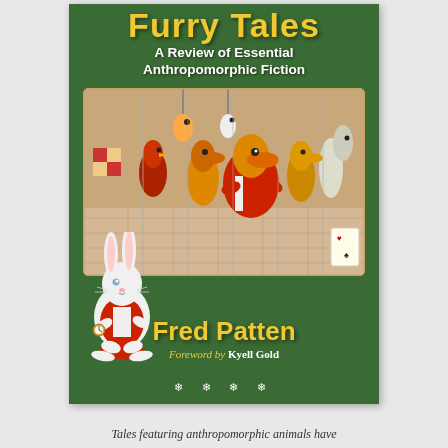[Figure (illustration): Book cover of 'Furry Tales: A Review of Essential Anthropomorphic Fiction' by Fred Patten, Foreword by Kyell Gold. Green background cover featuring a white rabbit in red costume at bottom left, and an illustrated panel of anthropomorphic bird characters in elaborate costumes. Title in yellow, subtitle and author name visible.]
Tales featuring anthropomorphic animals have